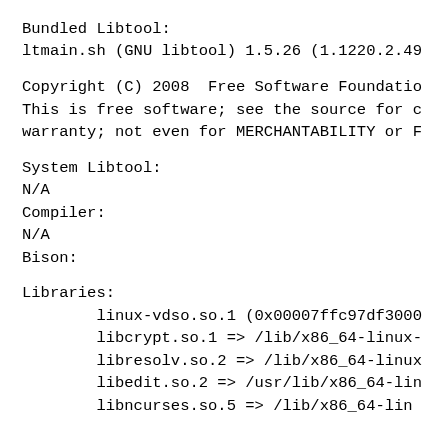Bundled Libtool:
ltmain.sh (GNU libtool) 1.5.26 (1.1220.2.49
Copyright (C) 2008  Free Software Foundatio
This is free software; see the source for c
warranty; not even for MERCHANTABILITY or F
System Libtool:
N/A
Compiler:
N/A
Bison:
Libraries:
        linux-vdso.so.1 (0x00007ffc97df3000
        libcrypt.so.1 => /lib/x86_64-linux-
        libresolv.so.2 => /lib/x86_64-linux
        libedit.so.2 => /usr/lib/x86_64-lin
        libncurses.so.5 => /lib/x86_64-lin